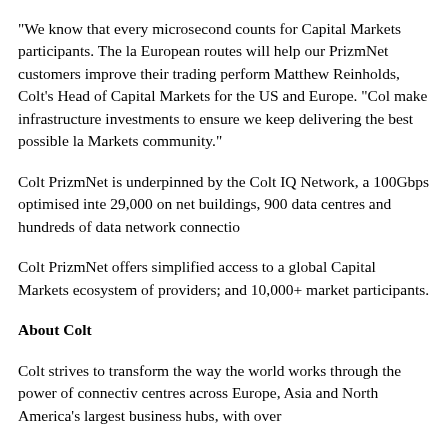“We know that every microsecond counts for Capital Markets participants. The la European routes will help our PrizmNet customers improve their trading perform Matthew Reinholds, Colt’s Head of Capital Markets for the US and Europe. “Col make infrastructure investments to ensure we keep delivering the best possible la Markets community.”
Colt PrizmNet is underpinned by the Colt IQ Network, a 100Gbps optimised inte 29,000 on net buildings, 900 data centres and hundreds of data network connectio
Colt PrizmNet offers simplified access to a global Capital Markets ecosystem of providers; and 10,000+ market participants.
About Colt
Colt strives to transform the way the world works through the power of connectiv centres across Europe, Asia and North America’s largest business hubs, with over
Colt understands business connectivity requirements and provides high performa customers’ success, with Colt’s vision centering on being the most customer orien include data intensive organisations spanning over 210 cities in more than 30 cou